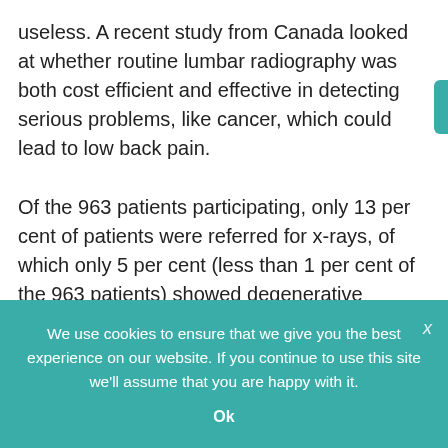useless. A recent study from Canada looked at whether routine lumbar radiography was both cost efficient and effective in detecting serious problems, like cancer, which could lead to low back pain.
Of the 963 patients participating, only 13 per cent of patients were referred for x-rays, of which only 5 per cent (less than 1 per cent of the 963 patients) showed degenerative changes in the back. Only one patient showed evidence of malignancy.
We use cookies to ensure that we give you the best experience on our website. If you continue to use this site we'll assume that you are happy with it.
Ok